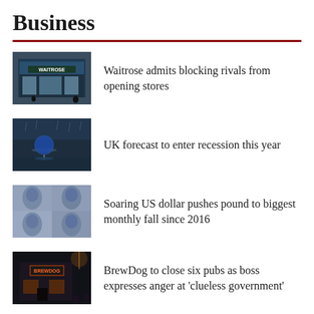Business
Waitrose admits blocking rivals from opening stores
UK forecast to enter recession this year
Soaring US dollar pushes pound to biggest monthly fall since 2016
BrewDog to close six pubs as boss expresses anger at 'clueless government'
Co-op sells petrol station business to